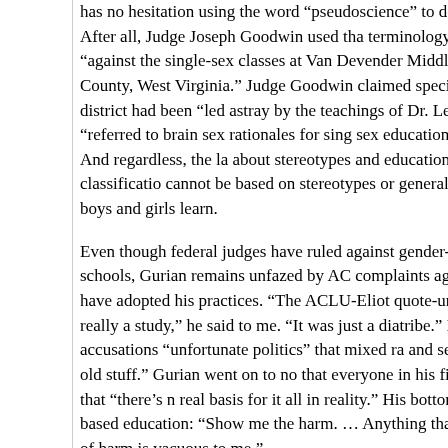has no hesitation using the word “pseudoscience” to describe Gurian and Sax. After all, Judge Joseph Goodwin used that terminology, too, when he ruled “against the single-sex classes at Van Devender Middle School in Wood County, West Virginia.” Judge Goodwin claimed specifically that the school district had been “led astray by the teachings of Dr. Leonard Sax,” and “referred to brain sex rationales for single-sex education as ‘pseudoscience.’” And regardless, the law about stereotypes and education is clear: sex classification cannot be based on stereotypes or generalizations about the way boys and girls learn.
Even though federal judges have ruled against gender-based teaching in public schools, Gurian remains unfazed by ACLU complaints against the districts that have adopted his practices. “The ACLU-Eliot quote-unquote study was not really a study,” he said to me. “It was just a diatribe.” He called the accusations “unfortunate politics” that mixed race and sexism and “all of that old stuff.” Gurian went on to note that everyone in his field gets attacked, but that “there’s no real basis for it all in reality.” His bottom line about gender-based education: “Show me the harm. … Anything that doesn’t have proof of harm is vacuous to me.”
* * *
During his foray into craniometry, Le Bon had yet to write